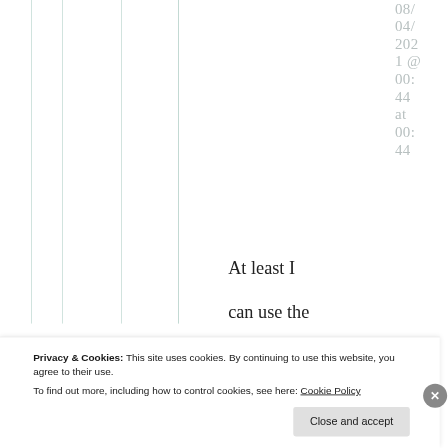[Figure (other): Background grid with vertical teal/green lines forming columns on white background]
08/ 04/ 202 1 @ 00: 44 at 00: 44
At least I can use the
Privacy & Cookies: This site uses cookies. By continuing to use this website, you agree to their use.
To find out more, including how to control cookies, see here: Cookie Policy
Close and accept